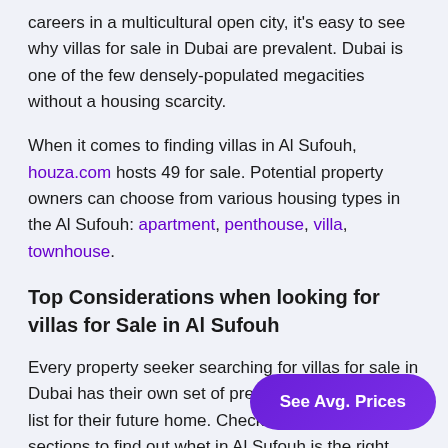careers in a multicultural open city, it's easy to see why villas for sale in Dubai are prevalent. Dubai is one of the few densely-populated megacities without a housing scarcity.
When it comes to finding villas in Al Sufouh, houza.com hosts 49 for sale. Potential property owners can choose from various housing types in the Al Sufouh: apartment, penthouse, villa, townhouse.
Top Considerations when looking for villas for Sale in Al Sufouh
Every property seeker searching for villas for sale in Dubai has their own set of preferences and a wish list for their future home. Check out the below sections to find out whet in Al Sufouh is the right thing for y
See Avg. Prices